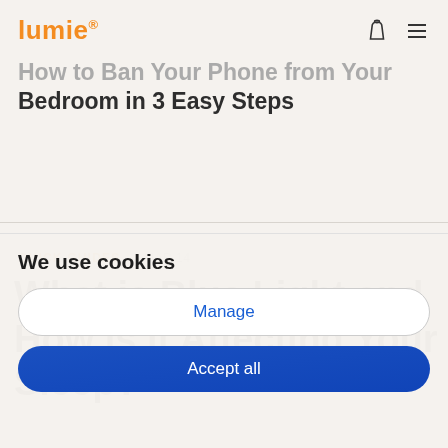Lumie
How to Ban Your Phone from Your Bedroom in 3 Easy Steps
QUICK GUIDES · MAR 14
What is Blue Light and How is it Affecting Your Sleep?
We use cookies
Manage
Accept all